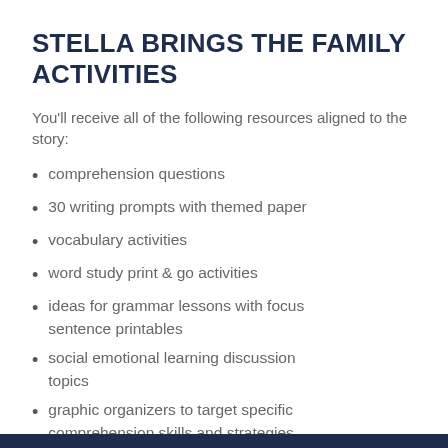STELLA BRINGS THE FAMILY ACTIVITIES
You'll receive all of the following resources aligned to the story:
comprehension questions
30 writing prompts with themed paper
vocabulary activities
word study print & go activities
ideas for grammar lessons with focus sentence printables
social emotional learning discussion topics
graphic organizers to target specific comprehension skills and strategies